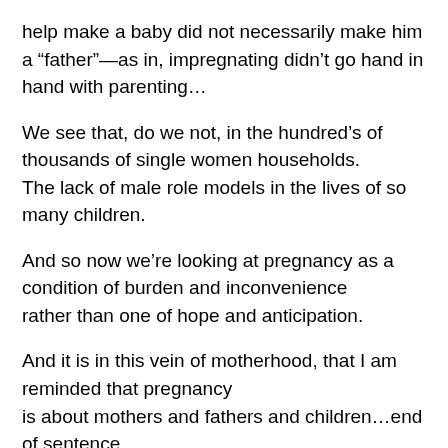help make a baby did not necessarily make him a “father”—as in, impregnating didn’t go hand in hand with parenting…
We see that, do we not, in the hundred’s of thousands of single women households.
The lack of male role models in the lives of so many children.
And so now we’re looking at pregnancy as a condition of burden and inconvenience rather than one of hope and anticipation.
And it is in this vein of motherhood, that I am reminded that pregnancy is about mothers and fathers and children…end of sentence…